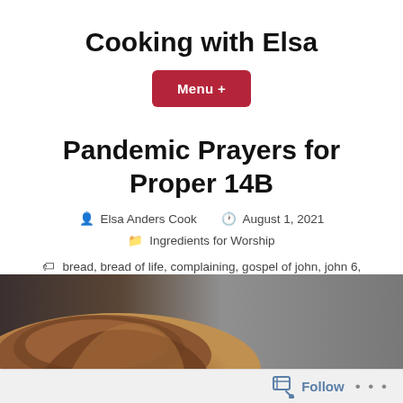Cooking with Elsa
Menu +
Pandemic Prayers for Proper 14B
Elsa Anders Cook  August 1, 2021  Ingredients for Worship
bread, bread of life, complaining, gospel of john, john 6, pandemic, prayers, revised common lectionary, worship
[Figure (photo): Photo of bread loaf on a dark background, partially shown at bottom of page]
Follow ...